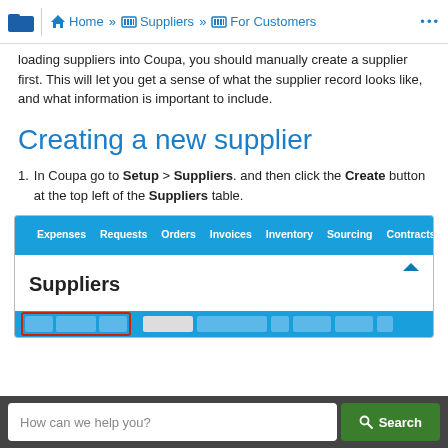Home » Suppliers » For Customers
loading suppliers into Coupa, you should manually create a supplier first. This will let you get a sense of what the supplier record looks like, and what information is important to include.
Creating a new supplier
1. In Coupa go to Setup > Suppliers. and then click the Create button at the top left of the Suppliers table.
[Figure (screenshot): Coupa application screenshot showing the Setup > Suppliers navigation with a Suppliers page header and a toolbar with a red-outlined Create button area.]